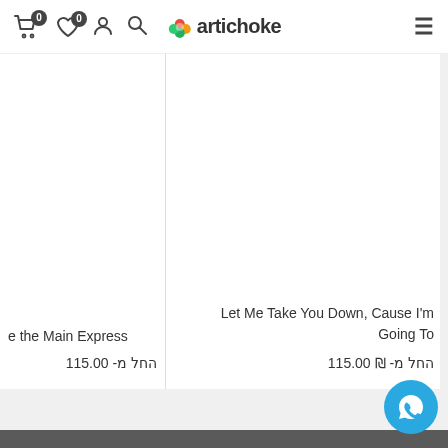artichoke — navigation header with cart (0), wishlist (0), user, search icons and hamburger menu
e the Main Express
החל מ- 115.00
Let Me Take You Down, Cause I'm Going To
החל מ- ₪ 115.00